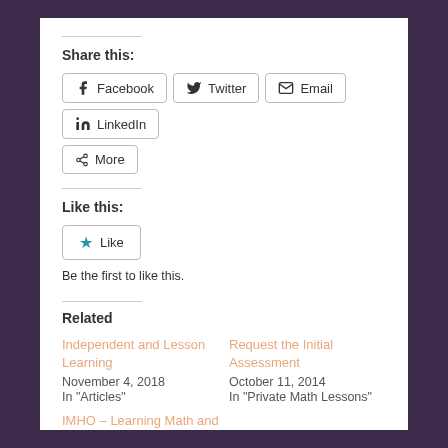Share this:
Facebook
Twitter
Email
LinkedIn
More
Like this:
Like
Be the first to like this.
Related
Independent and Lesson Learning
November 4, 2018
In "Articles"
Request the Initial Assessment
October 11, 2014
In "Private Math Lessons"
IMHO – Learning Math and the Gifted Identity